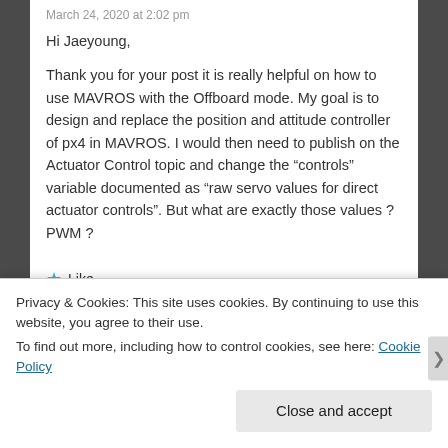March 24, 2020 at 2:02 pm
Hi Jaeyoung,
Thank you for your post it is really helpful on how to use MAVROS with the Offboard mode. My goal is to design and replace the position and attitude controller of px4 in MAVROS. I would then need to publish on the Actuator Control topic and change the “controls” variable documented as “raw servo values for direct actuator controls”. But what are exactly those values ? PWM ?
★ Like
Reply
Privacy & Cookies: This site uses cookies. By continuing to use this website, you agree to their use.
To find out more, including how to control cookies, see here: Cookie Policy